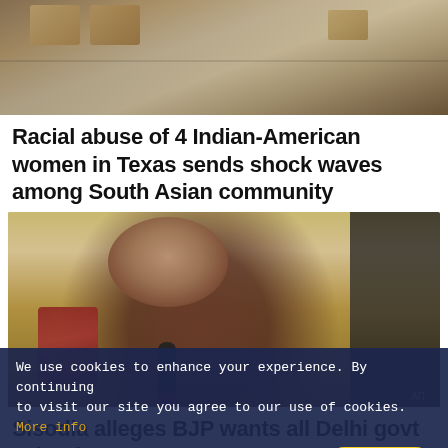[Figure (photo): Photo of hands holding cardboard signs at a protest, outdoor setting with bare trees in background]
Racial abuse of 4 Indian-American women in Texas sends shock waves among South Asian community
[Figure (photo): Photo of Sisodia speaking at a press conference, holding a microphone with right hand raised, wearing a red polo shirt, seated against a yellow/tan background with AAP logos]
Sisodia alleges BJP wants all Delhi govt schools
We use cookies to enhance your experience. By continuing to visit our site you agree to our use of cookies. More info